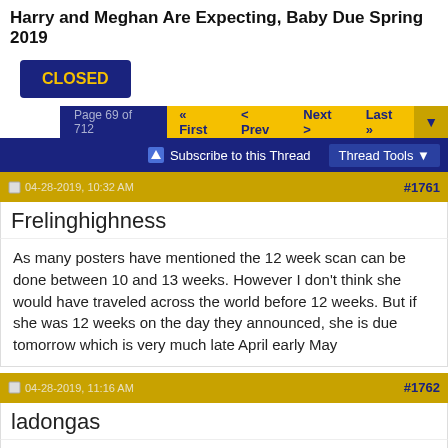Harry and Meghan Are Expecting, Baby Due Spring 2019
[Figure (screenshot): Closed button (dark blue with gold text 'CLOSED')]
[Figure (screenshot): Pagination bar showing Page 69 of 712, First, Prev, Next, Last navigation]
[Figure (screenshot): Forum toolbar with Subscribe to this Thread and Thread Tools options]
[Figure (screenshot): Post #1761 header bar dated 04-28-2019, 10:32 AM]
Frelinghighness
As many posters have mentioned the 12 week scan can be done between 10 and 13 weeks. However I don't think she would have traveled across the world before 12 weeks. But if she was 12 weeks on the day they announced, she is due tomorrow which is very much late April early May
[Figure (screenshot): Post #1762 header bar dated 04-28-2019, 11:16 AM]
ladongas
Quote: Originally Posted by joni84